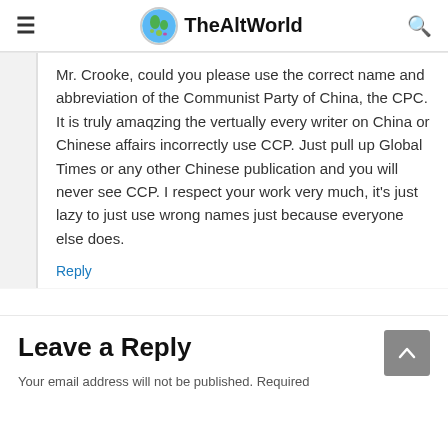TheAltWorld
Mr. Crooke, could you please use the correct name and abbreviation of the Communist Party of China, the CPC. It is truly amaqzing the vertually every writer on China or Chinese affairs incorrectly use CCP. Just pull up Global Times or any other Chinese publication and you will never see CCP. I respect your work very much, it's just lazy to just use wrong names just because everyone else does.
Reply
Leave a Reply
Your email address will not be published. Required